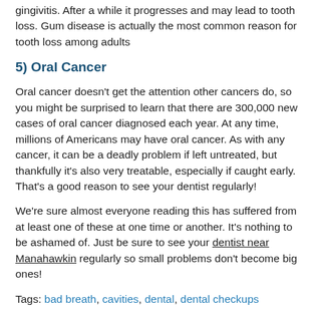gingivitis. After a while it progresses and may lead to tooth loss. Gum disease is actually the most common reason for tooth loss among adults
5) Oral Cancer
Oral cancer doesn’t get the attention other cancers do, so you might be surprised to learn that there are 300,000 new cases of oral cancer diagnosed each year. At any time, millions of Americans may have oral cancer. As with any cancer, it can be a deadly problem if left untreated, but thankfully it’s also very treatable, especially if caught early. That’s a good reason to see your dentist regularly!
We’re sure almost everyone reading this has suffered from at least one of these at one time or another. It’s nothing to be ashamed of. Just be sure to see your dentist near Manahawkin regularly so small problems don’t become big ones!
Tags: bad breath, cavities, dental, dental checkups